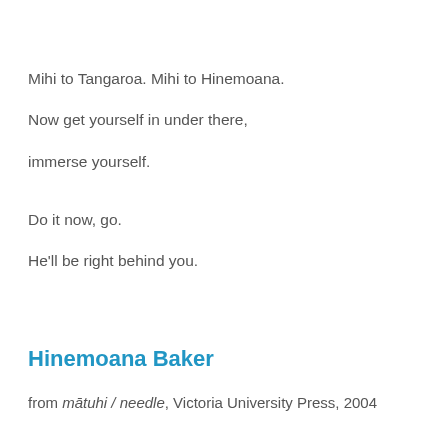Mihi to Tangaroa. Mihi to Hinemoana.
Now get yourself in under there,
immerse yourself.
Do it now, go.
He'll be right behind you.
Hinemoana Baker
from mātuhi / needle, Victoria University Press, 2004